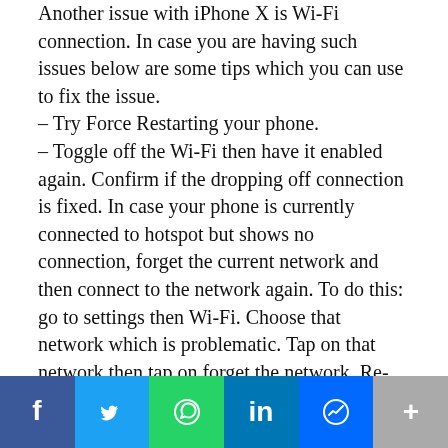Another issue with iPhone X is Wi-Fi connection. In case you are having such issues below are some tips which you can use to fix the issue.
– Try Force Restarting your phone.
– Toggle off the Wi-Fi then have it enabled again. Confirm if the dropping off connection is fixed. In case your phone is currently connected to hotspot but shows no connection, forget the current network and then connect to the network again. To do this: go to settings then Wi-Fi. Choose that network which is problematic. Tap on that network then tap on forget the network. Re-connect the network once more.
Forget Wi-Fi Network And Connect it Again
If you see the continuous prompts saying that you